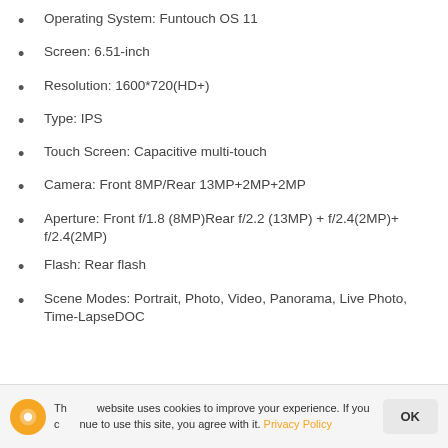Operating System: Funtouch OS 11
Screen: 6.51-inch
Resolution: 1600*720(HD+)
Type: IPS
Touch Screen: Capacitive multi-touch
Camera: Front 8MP/Rear 13MP+2MP+2MP
Aperture: Front f/1.8 (8MP)​Rear f/2.2 (13MP) + f/2.4(2MP)+ f/2.4(2MP)
Flash: Rear flash
Scene Modes: Portrait, Photo, Video, Panorama, Live Photo, Time-Lapse​DOC
This website uses cookies to improve your experience. If you continue to use this site, you agree with it. Privacy Policy